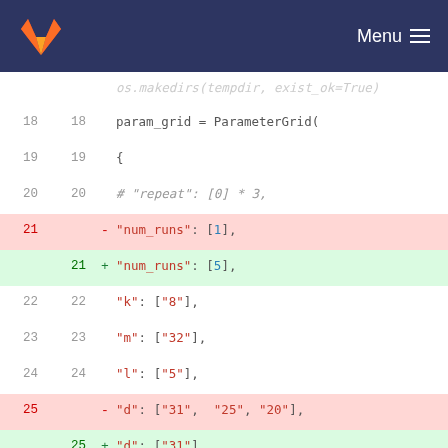GitLab Menu
[Figure (screenshot): Code diff view showing changes to param_grid ParameterGrid configuration in Python. Lines 18-30 showing additions and removals of num_runs, d, b, B parameters.]